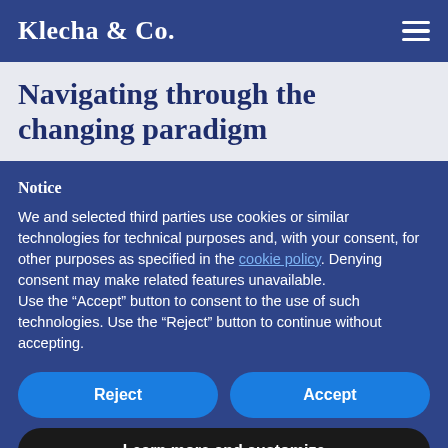Klecha & Co.
Navigating through the changing paradigm
Notice
We and selected third parties use cookies or similar technologies for technical purposes and, with your consent, for other purposes as specified in the cookie policy. Denying consent may make related features unavailable.
Use the “Accept” button to consent to the use of such technologies. Use the “Reject” button to continue without accepting.
Reject
Accept
Learn more and customize